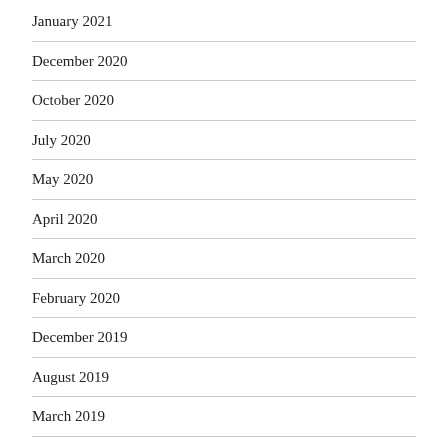January 2021
December 2020
October 2020
July 2020
May 2020
April 2020
March 2020
February 2020
December 2019
August 2019
March 2019